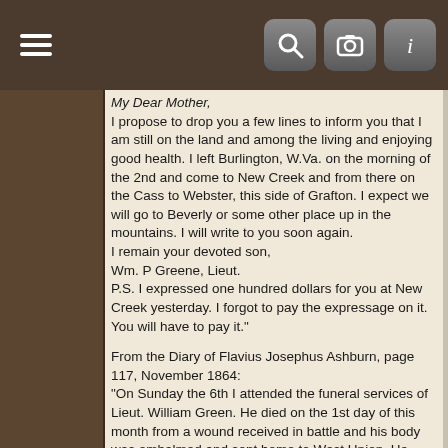Navigation bar with hamburger menu, search, camera, and info icons
My Dear Mother,
I propose to drop you a few lines to inform you that I am still on the land and among the living and enjoying good health. I left Burlington, W.Va. on the morning of the 2nd and come to New Creek and from there on the Cass to Webster, this side of Grafton. I expect we will go to Beverly or some other place up in the mountains. I will write to you soon again.
I remain your devoted son,
Wm. P Greene, Lieut.
P.S. I expressed one hundred dollars for you at New Creek yesterday. I forgot to pay the expressage on it. You will have to pay it."
From the Diary of Flavius Josephus Ashburn, page 117, November 1864:
"On Sunday the 6th I attended the funeral services of Lieut. William Green. He died on the 1st day of this month from a wound received in battle and his body was embalmed and sent home to West Union. He was there placed in a highly finished coffin and conveyed to the meeting house while Bro. Lyon (a Methodist minister and Chaplain in the army) preached his funeral. After which, amidst the outbursts of grief and mournful lamentations of his mother and other relations, he was interred in the silent tomb."
Newspaper article, "Wheeling Daily Intelligencer," Thursday, Feb 17 1870, p. 4, in its entirety: